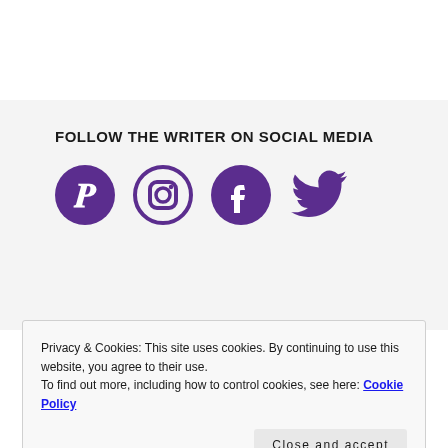FOLLOW THE WRITER ON SOCIAL MEDIA
[Figure (illustration): Four social media icons: Pinterest, Instagram, Facebook, Twitter — all in purple]
Privacy & Cookies: This site uses cookies. By continuing to use this website, you agree to their use.
To find out more, including how to control cookies, see here: Cookie Policy
Close and accept